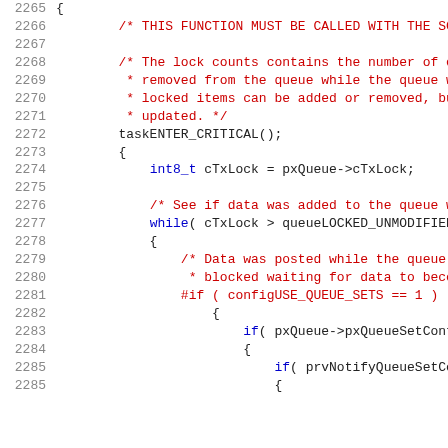[Figure (screenshot): Source code listing showing C code with line numbers 2265-2285, featuring a function with critical section handling for a queue lock mechanism. Code uses red color for comments/preprocessor and blue for keywords.]